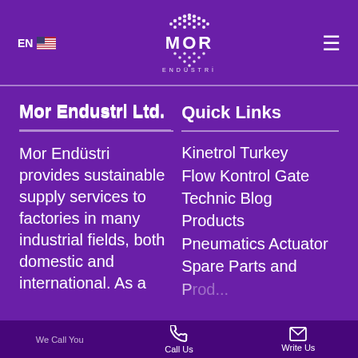EN | MOR ENDÜSTRİ logo | hamburger menu
Mor Endustri Ltd.
Mor Endüstri provides sustainable supply services to factories in many industrial fields, both domestic and international. As a...
Quick Links
Kinetrol Turkey
Flow Kontrol Gate
Technic Blog
Products
Pneumatics Actuator
Spare Parts and
We Call You | Call Us | Write Us